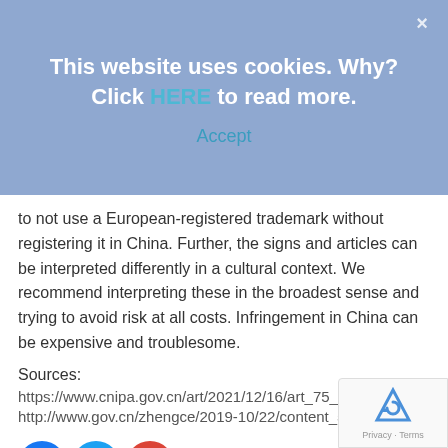This website uses cookies. Why? Click HERE to read more.
Accept
to not use a European-registered trademark without registering it in China. Further, the signs and articles can be interpreted differently in a cultural context. We recommend interpreting these in the broadest sense and trying to avoid risk at all costs. Infringement in China can be expensive and troublesome.
Sources:
https://www.cnipa.gov.cn/art/2021/12/16/art_75_172237.html
http://www.gov.cn/zhengce/2019-10/22/content_5443183.htm
[Figure (logo): Social media icons: Facebook, Twitter, Google+]
[Figure (logo): reCAPTCHA badge with Privacy and Terms text]